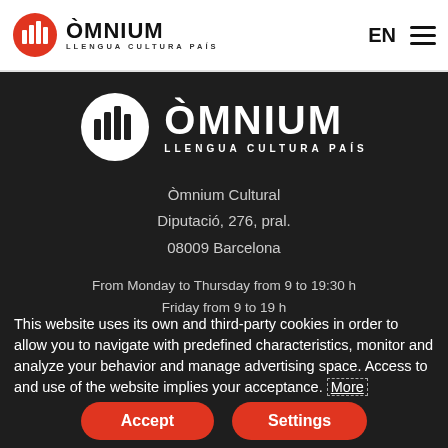ÒMNIUM LLENGUA CULTURA PAÍS | EN ☰
[Figure (logo): Òmnium Cultural logo — white circle with bar-chart-style icon, large white text ÒMNIUM, subtitle LLENGUA CULTURA PAÍS on dark background]
Òmnium Cultural
Diputació, 276, pral.
08009 Barcelona
From Monday to Thursday from 9 to 19:30 h
Friday from 9 to 19 h
This website uses its own and third-party cookies in order to allow you to navigate with predefined characteristics, monitor and analyze your behavior and manage advertising space. Access to and use of the website implies your acceptance. More
Accept | Settings